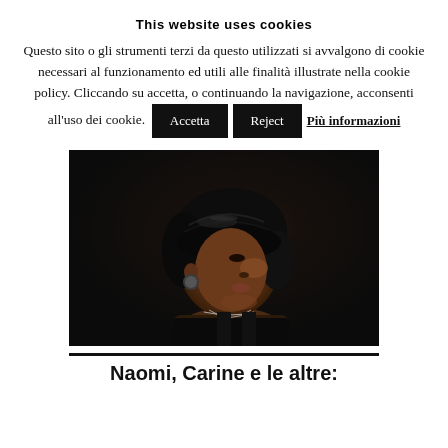This website uses cookies
Questo sito o gli strumenti terzi da questo utilizzati si avvalgono di cookie necessari al funzionamento ed utili alle finalità illustrate nella cookie policy. Cliccando su accetta, o continuando la navigazione, acconsenti all'uso dei cookie. [Accetta] [Reject] Più informazioni
[Figure (photo): Side profile portrait of a woman with short black bob haircut, wearing a black sleeveless top, earring, and necklace, against a dark background.]
Naomi, Carine e le altre: